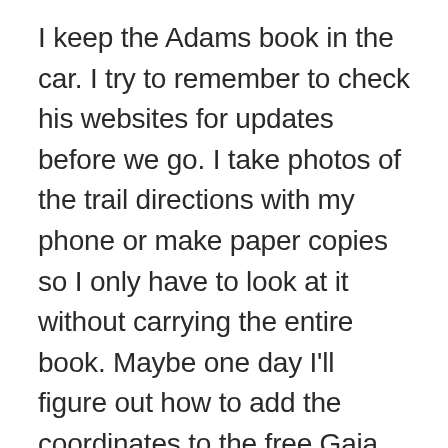I keep the Adams book in the car. I try to remember to check his websites for updates before we go. I take photos of the trail directions with my phone or make paper copies so I only have to look at it without carrying the entire book. Maybe one day I'll figure out how to add the coordinates to the free Gaia app or Google maps. Nothing like going so far but not quite far enough. In my defense for Scotsman Falls. I didn't know we were doing that one, but when hubby offered since we were over that way, you know I wouldn't turn that down. I should've read more before we started!
On the way back home, the telephone pole that had the large heron, had two. The one the size we saw